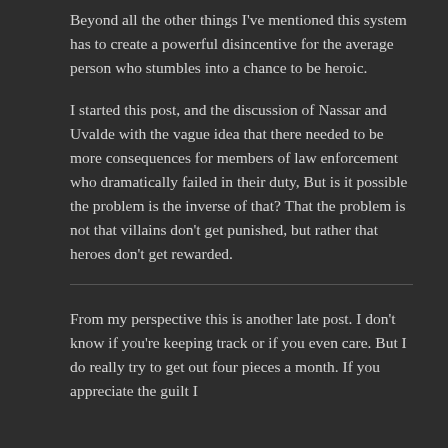Beyond all the other things I've mentioned this system has to create a powerful disincentive for the average person who stumbles into a chance to be heroic.
I started this post, and the discussion of Nassar and Uvalde with the vague idea that there needed to be more consequences for members of law enforcement who dramatically failed in their duty, But is it possible the problem is the inverse of that? That the problem is not that villains don't get punished, but rather that heroes don't get rewarded.
From my perspective this is another late post. I don't know if you're keeping track or if you even care. But I do really try to get out four pieces a month. If you appreciate the guilt I